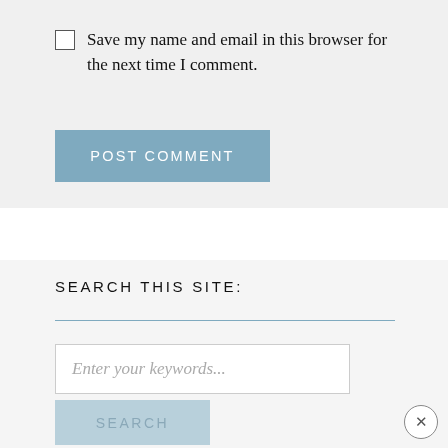Save my name and email in this browser for the next time I comment.
[Figure (screenshot): POST COMMENT button — a muted blue rectangular button with white uppercase text reading POST COMMENT]
SEARCH THIS SITE:
[Figure (screenshot): Search input field with placeholder text 'Enter your keywords...' and a SEARCH button below it, plus a close (X) circle button]